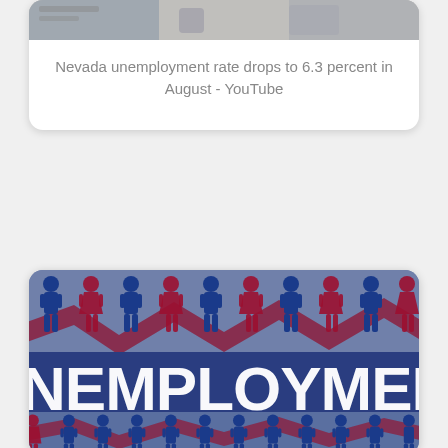[Figure (screenshot): YouTube video thumbnail card showing 'Nevada unemployment rate drops to 6.3 percent in August - YouTube' with a partial image at top and text caption below]
Nevada unemployment rate drops to 6.3 percent in August - YouTube
[Figure (illustration): Unemployment infographic image showing rows of blue human figure icons (male and female) with a red zigzag/wave pattern through them, and large bold white text reading 'NEMPLOYMEN' (part of UNEMPLOYMENT) on a dark blue banner across the middle]